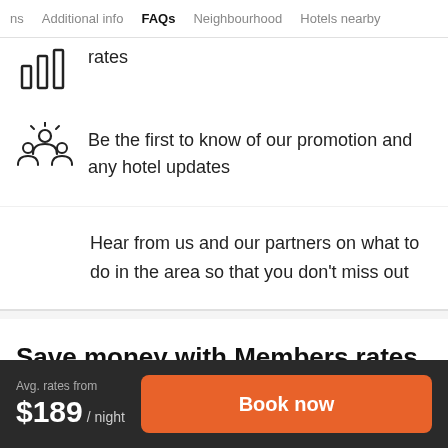ns   Additional info   FAQs   Neighbourhood   Hotels nearby
rates
Be the first to know of our promotion and any hotel updates
Hear from us and our partners on what to do in the area so that you don't miss out
Save money with Members rates for this hotel
Avg. rates from $189 / night
Book now